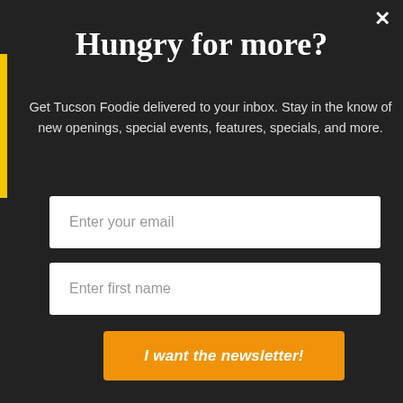Hungry for more?
Get Tucson Foodie delivered to your inbox. Stay in the know of new openings, special events, features, specials, and more.
Enter your email
Enter first name
I want the newsletter!
KINGFISHER ROAD TRIP 2022: CALIFORNIA AND HAWAII
IT'S TIME FOR KINGFISHER'S NEXT STOP
(august 24) 11:00 am - (september 3) 9:00 pm Arizona